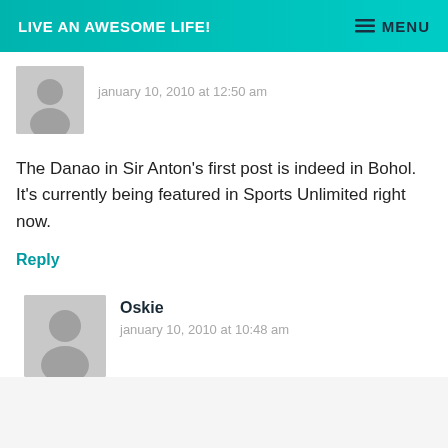LIVE AN AWESOME LIFE!   MENU
january 10, 2010 at 12:50 am
The Danao in Sir Anton's first post is indeed in Bohol. It's currently being featured in Sports Unlimited right now.
Reply
Oskie
january 10, 2010 at 10:48 am